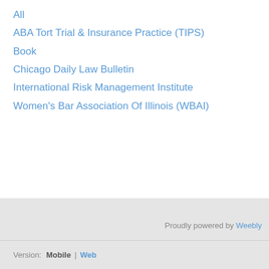All
ABA Tort Trial & Insurance Practice (TIPS)
Book
Chicago Daily Law Bulletin
International Risk Management Institute
Women's Bar Association Of Illinois (WBAI)
Proudly powered by Weebly
Version:  Mobile  |  Web